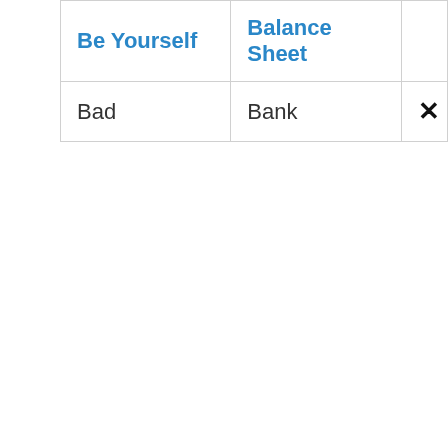| Be Yourself | Balance Sheet |  |
| --- | --- | --- |
| Bad | Bank | × |